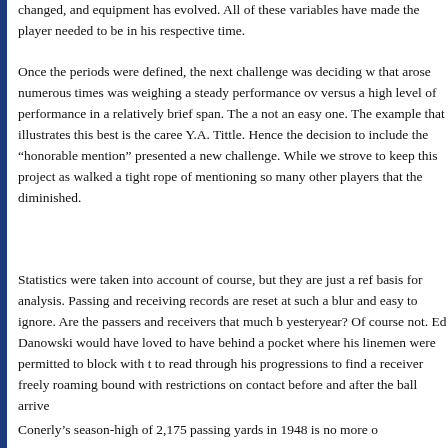changed, and equipment has evolved. All of these variables have made the player needed to be in his respective time.
Once the periods were defined, the next challenge was deciding w... that arose numerous times was weighing a steady performance ov... versus a high level of performance in a relatively brief span. The a... not an easy one. The example that illustrates this best is the caree... Y.A. Tittle. Hence the decision to include the "honorable mention"... presented a new challenge. While we strove to keep this project as... walked a tight rope of mentioning so many other players that the... diminished.
Statistics were taken into account of course, but they are just a ref... basis for analysis. Passing and receiving records are reset at such a... blur and easy to ignore. Are the passers and receivers that much b... yesteryear? Of course not. Ed Danowski would have loved to have... behind a pocket where his linemen were permitted to block with t... to read through his progressions to find a receiver freely roaming... bound with restrictions on contact before and after the ball arrive...
Conerly's season-high of 2,175 passing yards in 1948 is no more o...